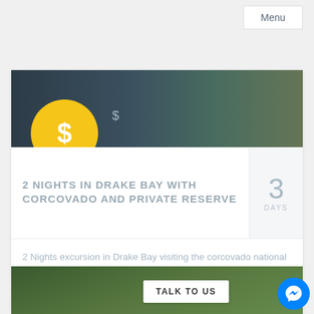Menu
[Figure (screenshot): Travel package card showing Drake Bay excursion with yellow dollar circle icon, nature photo header, title, 3 days badge, description text, and activity icons]
2 NIGHTS IN DRAKE BAY WITH CORCOVADO AND PRIVATE RESERVE
3 DAYS
2 Nights excursion in Drake Bay visiting the corcovado national park and hiking on the Danta trail.
TALK TO US